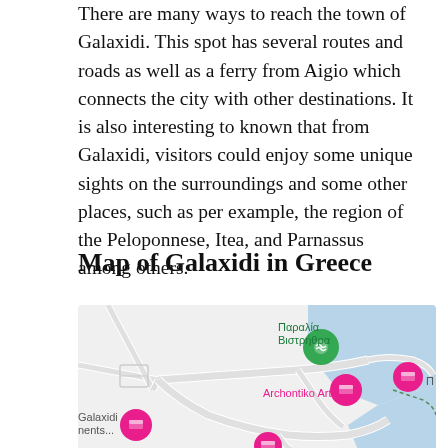There are many ways to reach the town of Galaxidi. This spot has several routes and roads as well as a ferry from Aigio which connects the city with other destinations. It is also interesting to known that from Galaxidi, visitors could enjoy some unique sights on the surroundings and some other places, such as per example, the region of the Peloponnese, Itea, and Parnassus among others.
Map of Galaxidi in Greece
[Figure (map): Google Maps view of Galaxidi, Greece showing streets, the waterfront/coast area in blue, location pins for Παραλία Βιστρήθρα (beach), Archontiko Art hotel, Galaxidi Apartments, and other pink map markers. Roads and paths shown in light gray on white background.]